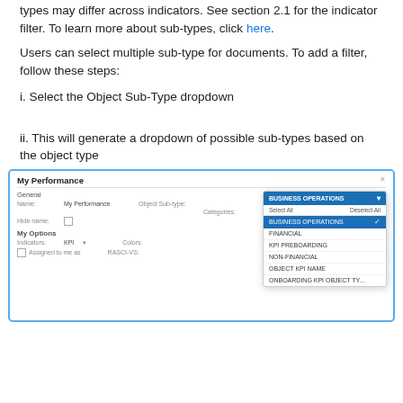types may differ across indicators. See section 2.1 for the indicator filter. To learn more about sub-types, click here.
Users can select multiple sub-type for documents. To add a filter, follow these steps:
i. Select the Object Sub-Type dropdown
ii. This will generate a dropdown of possible sub-types based on the object type
[Figure (screenshot): Screenshot of 'My Performance' modal with Object Sub-type dropdown open showing options: BUSINESS OPERATIONS (selected, checked), FINANCIAL, KPI PREBOARDING, NON-FINANCIAL, OBJECT KPI NAME, ONBOARDING KPI OBJECT TY...]